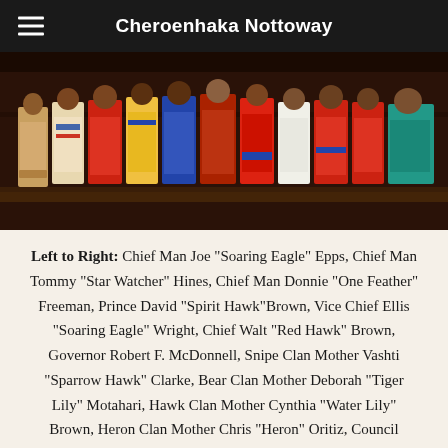Cheroenhaka Nottoway
[Figure (photo): Group photo of Cheroenhaka Nottoway tribal members and officials in traditional Native American dress and regalia, standing together indoors.]
Left to Right: Chief Man Joe “Soaring Eagle” Epps, Chief Man Tommy “Star Watcher” Hines, Chief Man Donnie “One Feather” Freeman, Prince David “Spirit Hawk”Brown, Vice Chief Ellis “Soaring Eagle”’ Wright, Chief Walt “Red Hawk” Brown, Governor Robert F. McDonnell, Snipe Clan Mother Vashti “Sparrow Hawk” Clarke, Bear Clan Mother Deborah “Tiger Lily”’ Motahari, Hawk Clan Mother Cynthia “Water Lily”’ Brown, Heron Clan Mother Chris “Heron” Oritiz, Council Member and Heritage Foundation Treasurer Teressa “Chenoabuck” Baxter, Heritage Foundation Board of Director